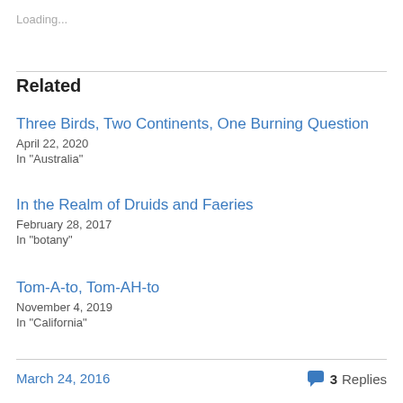Loading...
Related
Three Birds, Two Continents, One Burning Question
April 22, 2020
In "Australia"
In the Realm of Druids and Faeries
February 28, 2017
In "botany"
Tom-A-to, Tom-AH-to
November 4, 2019
In "California"
March 24, 2016   3 Replies